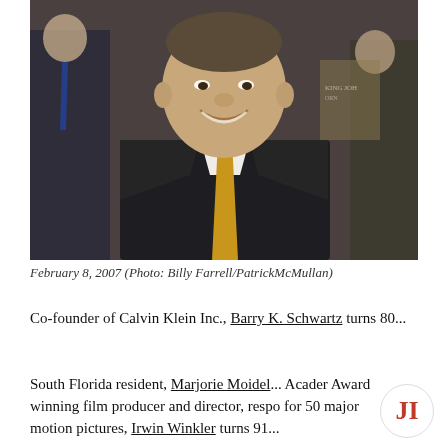[Figure (photo): Man in dark suit with gold tie smiling at camera, two other people visible in background]
February 8, 2007 (Photo: Billy Farrell/PatrickMcMullan)
Co-founder of Calvin Klein Inc., Barry K. Schwartz turns 80...
South Florida resident, Marjorie Moidel... Academy Award winning film producer and director, responsible for 50 major motion pictures, Irwin Winkler turns 91...